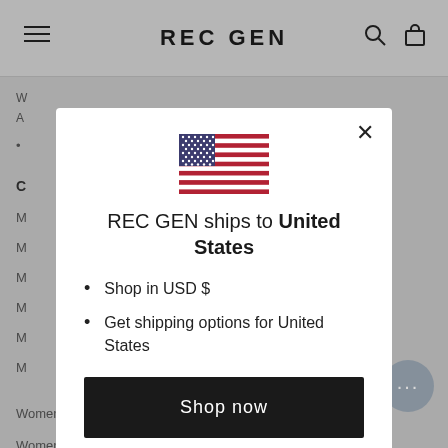REC GEN
[Figure (screenshot): US flag emoji displayed in modal]
REC GEN ships to United States
Shop in USD $
Get shipping options for United States
Shop now
Change shipping country
Womens Activewear Online
Womens Sports Bras